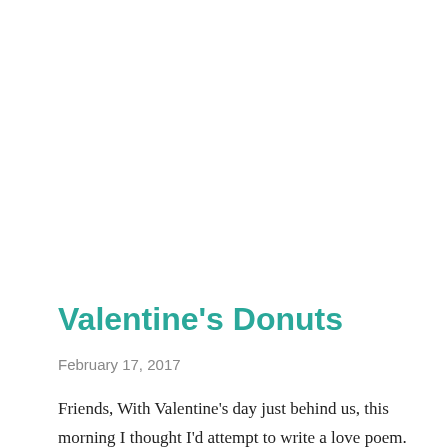Valentine's Donuts
February 17, 2017
Friends, With Valentine's day just behind us, this morning I thought I'd attempt to write a love poem. Here goes nothing. My one and only, oh how you are fant... H...